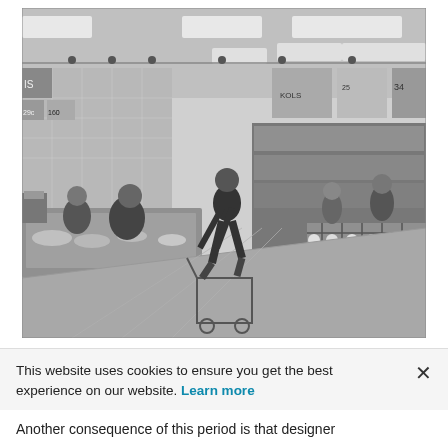[Figure (photo): Black and white photograph of shoppers in a supermarket aisle. A person pushes a shopping cart in the center foreground. To the left are refrigerated display counters with food items. To the right are wire basket crates stacked with products (possibly milk bottles). Price signs and signage hang from the ceiling. Fluorescent lighting illuminates the store. Other shoppers are visible in the background.]
This website uses cookies to ensure you get the best experience on our website. Learn more
Another consequence of this period is that designer